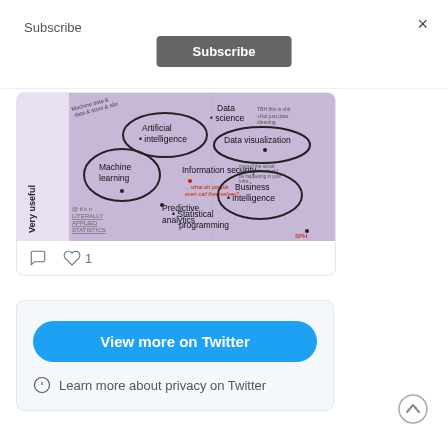Subscribe
×
Subscribe
[Figure (illustration): A hand-drawn mind-map/Venn diagram on a purple background showing data science related fields: Data science, Artificial intelligence, Data visualization, Machine learning, Information security, Business intelligence, Statistical programming, Predictive analytics. Labeled 'Very useful' on the left axis.]
♡ 1
View more on Twitter
Learn more about privacy on Twitter